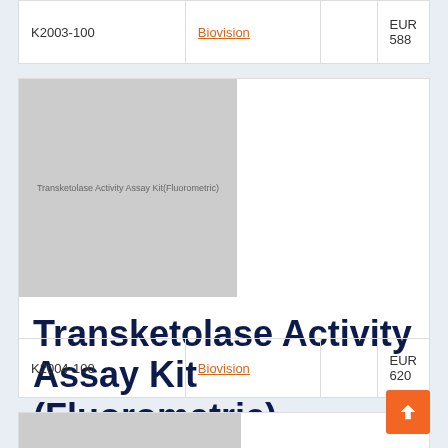|  |  |  |  |
| --- | --- | --- | --- |
| K2003-100 | Biovision |  | EUR 588 |
[Figure (photo): Product image placeholder for Transketolase Activity Assay Kit (Fluorometric)]
Transketolase Activity Assay Kit (Fluorometric)
|  |  |  |  |
| --- | --- | --- | --- |
| K2004-100 | Biovision |  | EUR 620 |
[Figure (photo): Product image placeholder for second assay kit (partially visible)]